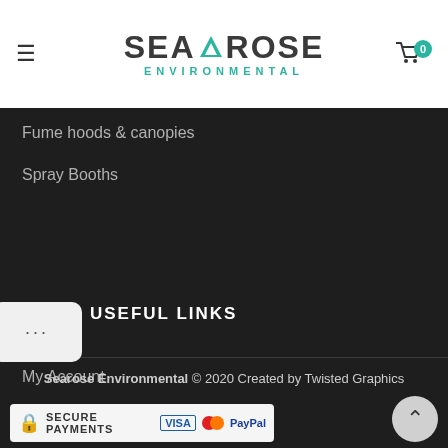[Figure (logo): Searose Environmental logo with teal triangle arrow in the middle and teal 'ENVIRONMENTAL' subtitle]
Fume hoods & canopies
Spray Booths
USEFUL LINKS
My Account
Privacy Policy
Returns
Terms & Conditions
Searose Environmental © 2020 Created by Twisted Graphics
[Figure (infographic): Secure payments badge showing Visa, Mastercard, and PayPal logos]